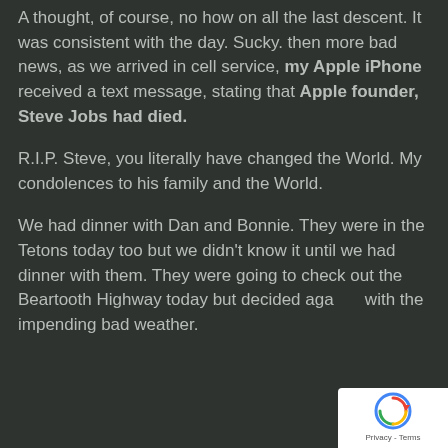A thought, of course, no how on all the last descent. It was consistent with the day. Sucky. then more bad news, as we arrived in cell service, my Apple iPhone received a text message, stating that Apple founder, Steve Jobs had died.
R.I.P. Steve, you literally have changed the World. My condolences to his family and the World.
We had dinner with Dan and Bonnie. They were in the Tetons today too but we didn't know it until we had dinner with them. They were going to check out the Beartooth Highway today but decided aga... with the impending bad weather.